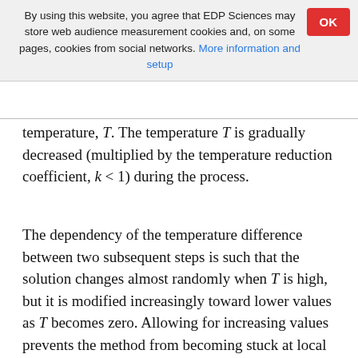By using this website, you agree that EDP Sciences may store web audience measurement cookies and, on some pages, cookies from social networks. More information and setup
temperature, T. The temperature T is gradually decreased (multiplied by the temperature reduction coefficient, k < 1) during the process.
The dependency of the temperature difference between two subsequent steps is such that the solution changes almost randomly when T is high, but it is modified increasingly toward lower values as T becomes zero. Allowing for increasing values prevents the method from becoming stuck at local minima – which can happen with gradient methods such as the LM. Subsequent points of the SA algorithm follow a perpendicular direction.